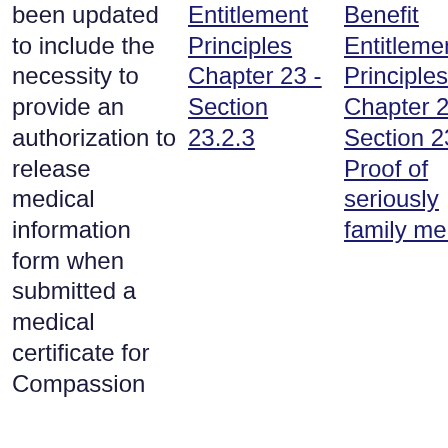been updated to include the necessity to provide an authorization to release medical information form when submitted a medical certificate for Compassion
Entitlement Principles Chapter 23 - Section 23.2.3
Benefit Entitlement Principles Chapter 23 – Section 23.2.3 Proof of seriously family member